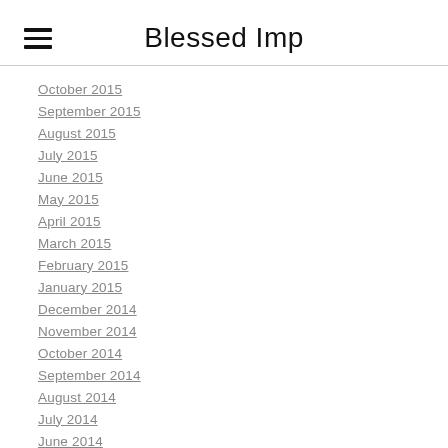Blessed Imp
October 2015
September 2015
August 2015
July 2015
June 2015
May 2015
April 2015
March 2015
February 2015
January 2015
December 2014
November 2014
October 2014
September 2014
August 2014
July 2014
June 2014
May 2014